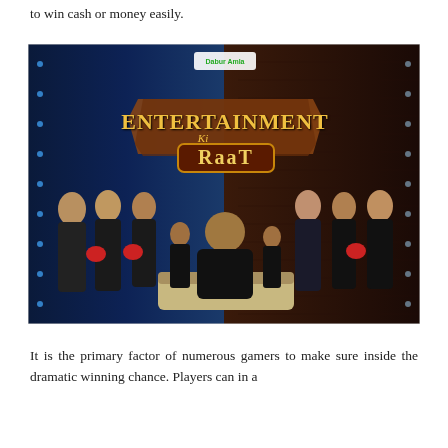to win cash or money easily.
[Figure (photo): Promotional image for the Indian TV show 'Entertainment Ki Raat'. Multiple cast members in black outfits, some wearing red boxing gloves, posed around a central seated child. The show logo 'Entertainment Ki Raat' is displayed prominently in the center with decorative styling. A sponsor logo appears at the top.]
It is the primary factor of numerous gamers to make sure inside the dramatic winning chance. Players can in a